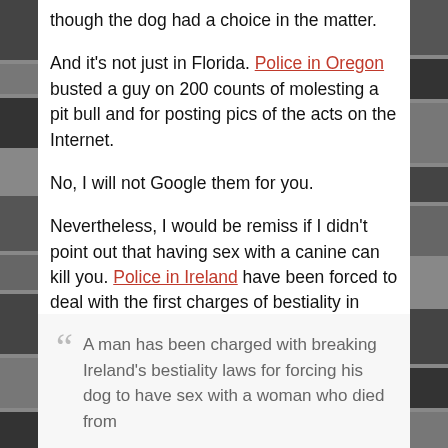though the dog had a choice in the matter.
And it's not just in Florida. Police in Oregon busted a guy on 200 counts of molesting a pit bull and for posting pics of the acts on the Internet.
No, I will not Google them for you.
Nevertheless, I would be remiss if I didn't point out that having sex with a canine can kill you. Police in Ireland have been forced to deal with the first charges of bestiality in almost 150 years.
A man has been charged with breaking Ireland's bestiality laws for forcing his dog to have sex with a woman who died from